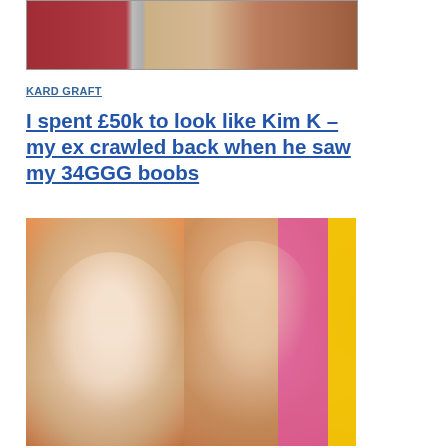[Figure (photo): Partial view of a TV/magazine style composite image showing women in red and yellow outfits against a grey background]
KARD GRAFT
I spent £50k to look like Kim K – my ex crawled back when he saw my 34GGG boobs
[Figure (photo): A woman in white halter dress and a man in white shirt sitting together in front of an orange and pink studio background with a yellow sign visible]